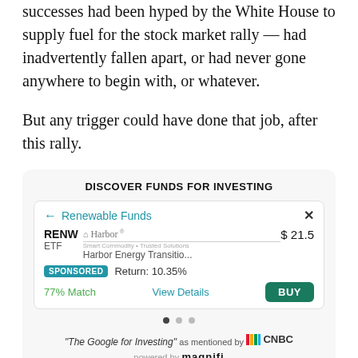successes had been hyped by the White House to supply fuel for the stock market rally — had inadvertently fallen apart, or had never gone anywhere to begin with, or whatever.
But any trigger could have done that job, after this rally.
[Figure (infographic): Advertisement widget titled 'DISCOVER FUNDS FOR INVESTING' showing a Renewable Funds card for RENW ETF - Harbor Energy Transitio... at $21.5, with SPONSORED badge, Return: 10.35%, 77% Match, View Details link, and BUY button. Footer shows 'The Google for Investing' as mentioned by CNBC, powered by magnifi.]
The Dow Jones Industrial Average, which never quite